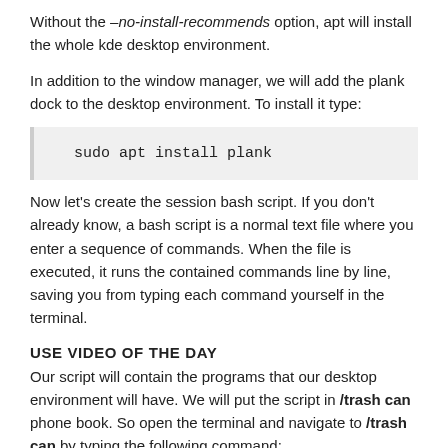Without the –no-install-recommends option, apt will install the whole kde desktop environment.
In addition to the window manager, we will add the plank dock to the desktop environment. To install it type:
sudo apt install plank
Now let's create the session bash script. If you don't already know, a bash script is a normal text file where you enter a sequence of commands. When the file is executed, it runs the contained commands line by line, saving you from typing each command yourself in the terminal.
USE VIDEO OF THE DAY
Our script will contain the programs that our desktop environment will have. We will put the script in /trash can phone book. So open the terminal and navigate to /trash can by typing the following command: